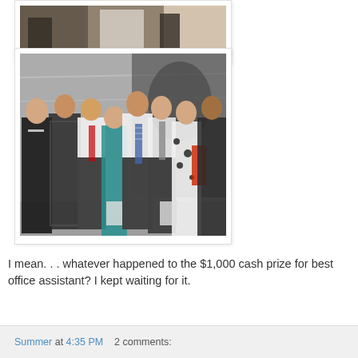[Figure (photo): Top portion of a group photo showing people in formal attire]
[Figure (photo): Group photo of eight young adults in formal attire posing in front of a marble wall with a bronze sculpture]
I mean. . . whatever happened to the $1,000 cash prize for best office assistant? I kept waiting for it.
Summer at 4:35 PM    2 comments: